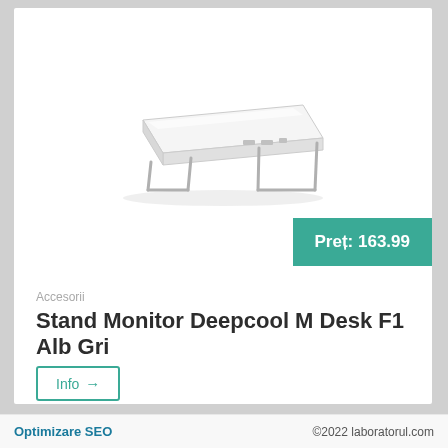[Figure (photo): Product photo of a Deepcool M Desk F1 monitor stand, white with grey metallic legs, rectangular shape viewed from a 3/4 angle above]
Preț: 163.99
Accesorii
Stand Monitor Deepcool M Desk F1 Alb Gri
Info →
Optimizare SEO    ©2022 laboratorul.com